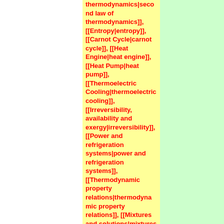thermodynamics|second law of thermodynamics]], [[Entropy|entropy]], [[Carnot Cycle|carnot cycle]], [[Heat Engine|heat engine]], [[Heat Pump|heat pump]], [[Thermoelectric Cooling|thermoelectric cooling]], [[Irreversibility, availability and exergy|irreversibility]], [[Power and refrigeration systems|power and refrigeration systems]], [[Thermodynamic property relations|thermodynamic property relations]], [[Mixtures and solutions|mixtures and solutions]], [[Thermodynamics of